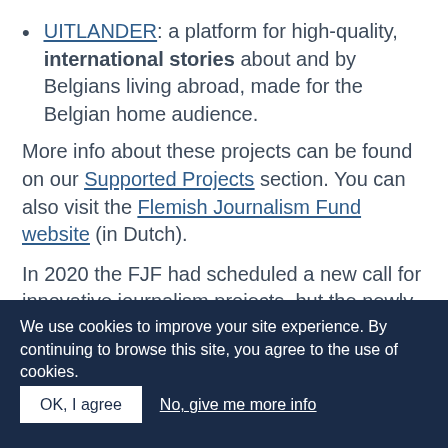UITLANDER: a platform for high-quality, international stories about and by Belgians living abroad, made for the Belgian home audience.
More info about these projects can be found on our Supported Projects section. You can also visit the Flemish Journalism Fund website (in Dutch).
In 2020 the FJF had scheduled a new call for innovative journalism projects, but the newly appointed Flemish government unexpectedly and prematurely cut the FJF budget, which forced the Fund to cease its activities.
We use cookies to improve your site experience. By continuing to browse this site, you agree to the use of cookies.